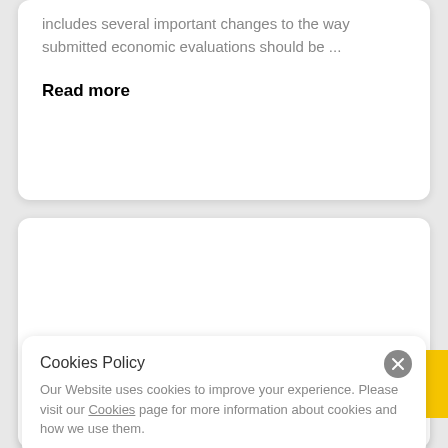includes several important changes to the way submitted economic evaluations should be ...
Read more
Cookies Policy
Our Website uses cookies to improve your experience. Please visit our Cookies page for more information about cookies and how we use them.